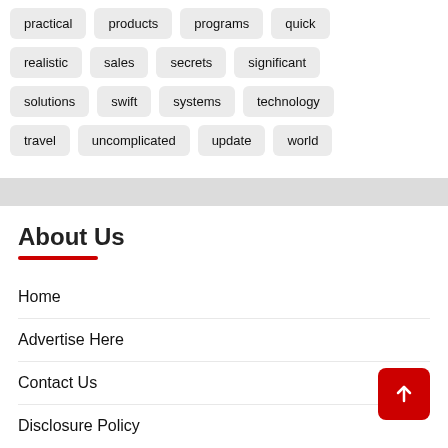practical
products
programs
quick
realistic
sales
secrets
significant
solutions
swift
systems
technology
travel
uncomplicated
update
world
About Us
Home
Advertise Here
Contact Us
Disclosure Policy